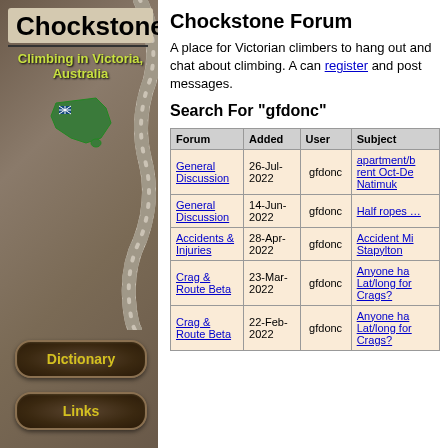Chockstone
Climbing in Victoria, Australia
Chockstone Forum
A place for Victorian climbers to hang out and chat about climbing. A can register and post messages.
Search For "gfdonc"
| Forum | Added | User | Subject |
| --- | --- | --- | --- |
| General Discussion | 26-Jul-2022 | gfdonc | apartment/b rent Oct-De Natimuk |
| General Discussion | 14-Jun-2022 | gfdonc | Half ropes ... |
| Accidents & Injuries | 28-Apr-2022 | gfdonc | Accident Mi Stapylton |
| Crag & Route Beta | 23-Mar-2022 | gfdonc | Anyone ha Lat/long for Crags? |
| Crag & Route Beta | 22-Feb-2022 | gfdonc | Anyone ha Lat/long for Crags? |
Dictionary
Links